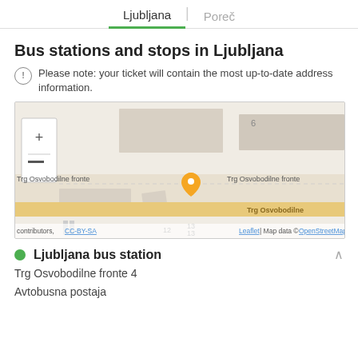Ljubljana | Poreč
Bus stations and stops in Ljubljana
Please note: your ticket will contain the most up-to-date address information.
[Figure (map): OpenStreetMap showing Ljubljana bus station area at Trg Osvobodilne fronte with a yellow location pin marker, zoom controls, and street labels. Map data © OpenStreetMap contributors, CC-BY-SA.]
Ljubljana bus station
Trg Osvobodilne fronte 4
Avtobusna postaja